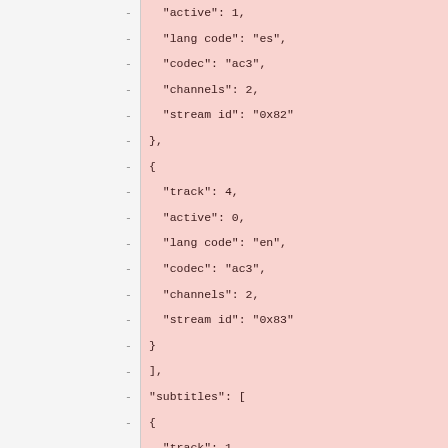JSON code snippet showing audio and subtitles track data including active, lang_code, codec, channels, stream_id fields